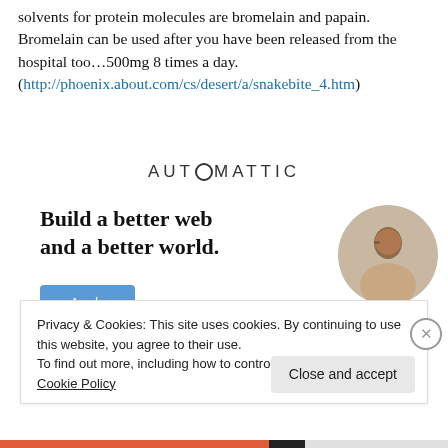solvents for protein molecules are bromelain and papain. Bromelain can be used after you have been released from the hospital too…500mg 8 times a day. (http://phoenix.about.com/cs/desert/a/snakebite_4.htm)
[Figure (logo): Automattic logo in uppercase letters with a circle/target replacing the letter O]
[Figure (infographic): Automattic job advertisement banner with text 'Build a better web and a better world.' with an Apply button and a circular portrait of a person thinking]
Privacy & Cookies: This site uses cookies. By continuing to use this website, you agree to their use.
To find out more, including how to control cookies, see here: Cookie Policy
Close and accept